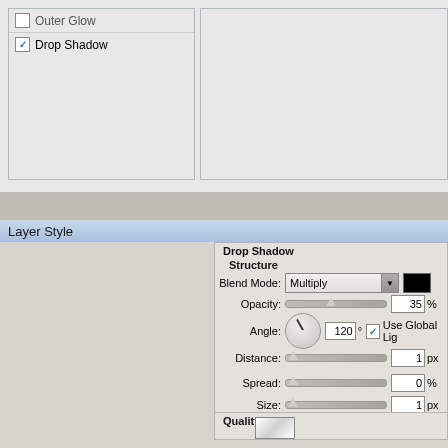[Figure (screenshot): Top portion of Photoshop Layer Style dialog showing a left panel with Outer Glow (unchecked) and Drop Shadow (checked) items, and an empty right panel area]
Layer Style
[Figure (screenshot): Bottom portion of Photoshop Layer Style dialog. Left panel lists: Styles, Blending Options: Default, Bevel & Emboss (checked), Contour, Texture, Stroke, Inner Shadow, Inner Glow, Satin, Color Overlay (checked). Right panel shows Drop Shadow > Structure section with Blend Mode: Multiply, Opacity: 35%, Angle: 120°, Use Global Light checked, Distance: 1px, Spread: 0%, Size: 1px. Below that is the Quality section header with a preview thumbnail.]